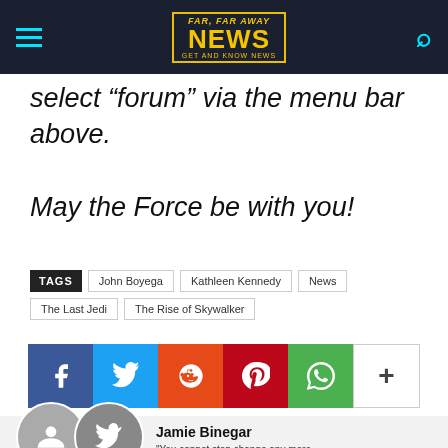Far Far Away News
select “forum” via the menu bar above. May the Force be with you!
TAGS  John Boyega  Kathleen Kennedy  News  The Last Jedi  The Rise of Skywalker
[Figure (infographic): Social share buttons: Facebook, Twitter, Reddit, Pinterest, WhatsApp, More (+)]
[Figure (photo): Author photo of Jamie Binegar with social media icons and X-Wing starfighter image]
Jamie Binegar
"You cannot stop change any more than you can stop the suns from